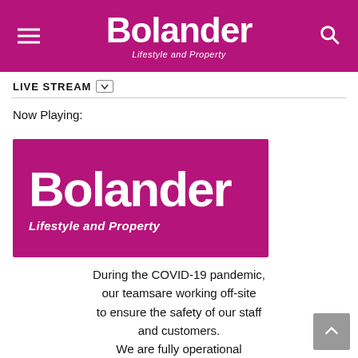Bolander Lifestyle and Property
LIVE STREAM
Now Playing:
[Figure (logo): Bolander Lifestyle and Property logo — white text on magenta/purple background]
During the COVID-19 pandemic, our teamsare working off-site to ensure the safety of our staff and customers. We are fully operational and able to assist you with your advertising requirements or queries